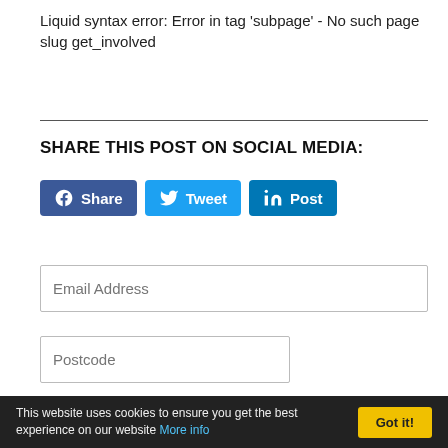Liquid syntax error: Error in tag 'subpage' - No such page slug get_involved
SHARE THIS POST ON SOCIAL MEDIA:
[Figure (other): Social media share buttons: Facebook Share, Twitter Tweet, LinkedIn Post]
Email Address
Postcode
Can we keep you updated?
Yes, I'd like to get emails from the local Liberal Democrats.
This website uses cookies to ensure you get the best experience on our website More info  Got it!